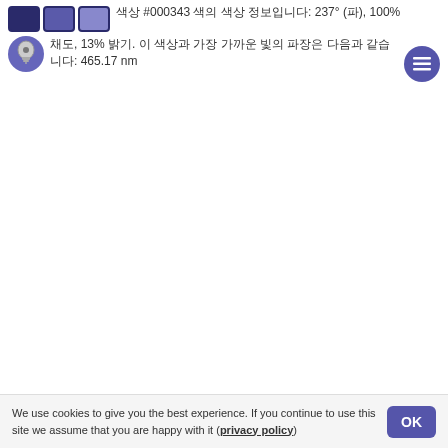색상 #000343 색의 색상 정보입니다: 237° (파), 100% 채도, 13% 밝기. 이 색상과 가장 가까운 빛의 파장은 다음과 같습니다: 465.17 nm
We use cookies to give you the best experience. If you continue to use this site we assume that you are happy with it (privacy policy)